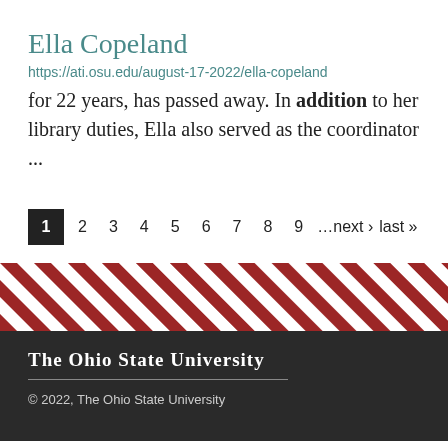Ella Copeland
https://ati.osu.edu/august-17-2022/ella-copeland
for 22 years, has passed away. In addition to her library duties, Ella also served as the coordinator ...
1 2 3 4 5 6 7 8 9 …next › last »
[Figure (illustration): Diagonal red and white striped banner pattern]
THE OHIO STATE UNIVERSITY
© 2022, The Ohio State University